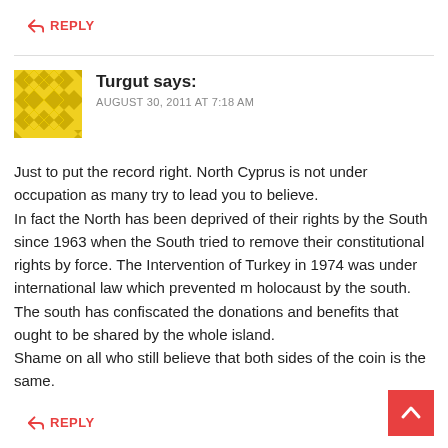↩ REPLY
[Figure (illustration): Yellow diamond pattern avatar/profile picture for user Turgut]
Turgut says:
AUGUST 30, 2011 AT 7:18 AM
Just to put the record right. North Cyprus is not under occupation as many try to lead you to believe.
In fact the North has been deprived of their rights by the South since 1963 when the South tried to remove their constitutional rights by force. The Intervention of Turkey in 1974 was under international law which prevented m holocaust by the south.
The south has confiscated the donations and benefits that ought to be shared by the whole island.
Shame on all who still believe that both sides of the coin is the same.
↩ REPLY